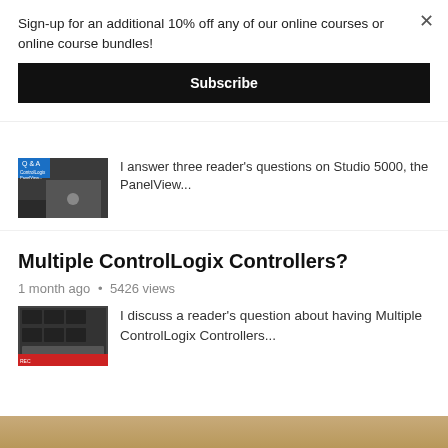Sign-up for an additional 10% off any of our online courses or online course bundles!
×
Subscribe
I answer three reader's questions on Studio 5000, the PanelView...
Multiple ControlLogix Controllers?
1 month ago • 5426 views
I discuss a reader's question about having Multiple ControlLogix Controllers...